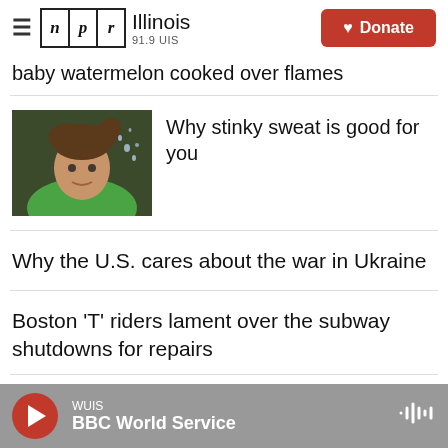NPR Illinois 91.9 UIS | Donate
baby watermelon cooked over flames
[Figure (photo): Person shaking wet hair while wearing green shirt]
Why stinky sweat is good for you
Why the U.S. cares about the war in Ukraine
Boston 'T' riders lament over the subway shutdowns for repairs
What do you think?
WUIS BBC World Service